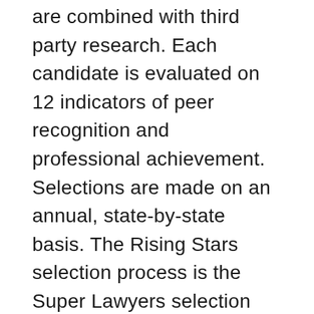are combined with third party research. Each candidate is evaluated on 12 indicators of peer recognition and professional achievement. Selections are made on an annual, state-by-state basis.  The Rising Stars selection process is the Super Lawyers selection process except that candidates must be either 40 years old or younger or in practice for ten years or less, and the selection process does not include peer evaluation by practice area.
Super Lawyers is published in 50 states and the District of Columbia by Thomson Reuters.  For more about the standards for inclusion in Super Lawyers, please visit